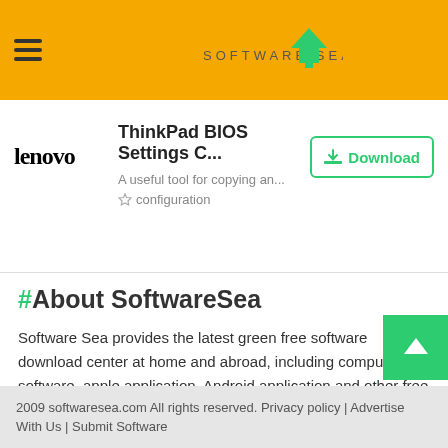softwaresea.com header with navigation and logo
ThinkPad BIOS Settings C...
A useful tool for copying an...
configuration
#About SoftwareSea
Software Sea provides the latest green free software download center at home and abroad, including computer software, apple application, Android application and other free computer / mobile software downloads. If you want to learn more about green free software, download it in software sea!
2009 softwaresea.com All rights reserved. Privacy policy | Advertise With Us | Submit Software